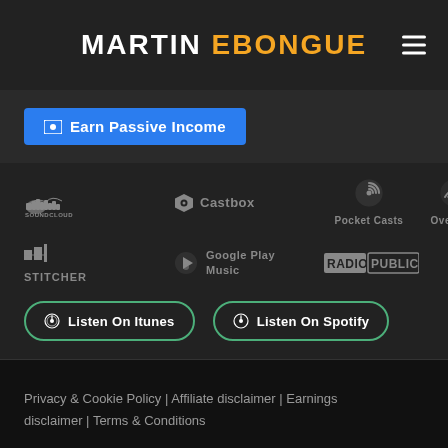MARTIN EBONGUE
Earn Passive Income
[Figure (logo): Podcast platform logos: SoundCloud, Castbox, Pocket Casts, Overcast, Stitcher, Google Play Music, Radio Public]
Listen On Itunes
Listen On Spotify
Privacy & Cookie Policy | Affiliate disclaimer | Earnings disclaimer | Terms & Conditions